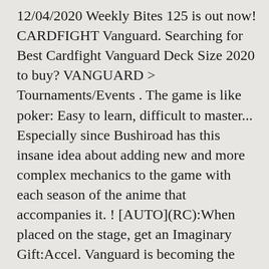12/04/2020 Weekly Bites 125 is out now! CARDFIGHT Vanguard. Searching for Best Cardfight Vanguard Deck Size 2020 to buy? VANGUARD > Tournaments/Events . The game is like poker: Easy to learn, difficult to master... Especially since Bushiroad has this insane idea about adding new and more complex mechanics to the game with each season of the anime that accompanies it. ! [AUTO](RC):When placed on the stage, get an Imaginary Gift:Accel. Vanguard is becoming the latest craze among trading card games, becoming a part of everyday life for people all over the world. Cardfight!! Vanguard ... help Reddit App Reddit coins Reddit premium Reddit gifts. Vanguard is a trading card game where players